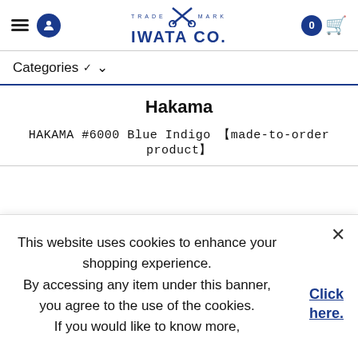IWATA CO. — Navigation header with hamburger menu, user icon, logo, and cart
Categories ▾
Hakama
HAKAMA #6000 Blue Indigo 【made-to-order product】
This website uses cookies to enhance your shopping experience.
By accessing any item under this banner, you agree to the use of the cookies.
If you would like to know more,
Click here.